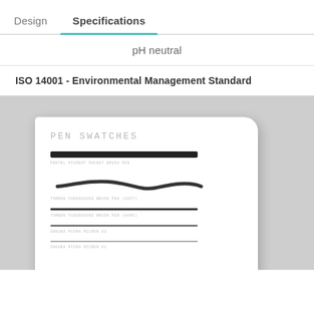Design   Specifications
pH neutral
ISO 14001 - Environmental Management Standard
[Figure (photo): Photo of an open notebook page showing 'PEN SWATCHES' written at the top with several pen swatch lines below, each labeled with different pen types including Pentel Pigment Pocket Brush Pen, Tombow Fudenosuke Brush Pen (Soft), Tombow Fudenosuke Brush Pen (Hard), Sakura Pigma Micron 03, and Sakura Pigma Micron 01. The notebook is set against a grey background.]